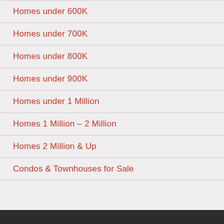Homes under 600K
Homes under 700K
Homes under 800K
Homes under 900K
Homes under 1 Million
Homes 1 Million – 2 Million
Homes 2 Million & Up
Condos & Townhouses for Sale